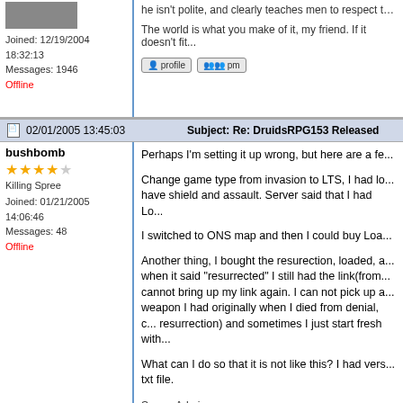Joined: 12/19/2004 18:32:13
Messages: 1946
Offline
The world is what you make of it, my friend. If it doesn't fit...
02/01/2005 13:45:03   Subject: Re: DruidsRPG153 Released
bushbomb
Killing Spree
Joined: 01/21/2005 14:06:46
Messages: 48
Offline
Perhaps I'm setting it up wrong, but here are a fe...
Change game type from invasion to LTS, I had lo... have shield and assault. Server said that I had Lo...
I switched to ONS map and then I could buy Loa...
Another thing, I bought the resurection, loaded, a... when it said "resurrected" I still had the link(from... cannot bring up my link again. I can not pick up a... weapon I had originally when I died from denial, c... resurrection) and sometimes I just start fresh with...
What can I do so that it is not like this? I had vers... txt file.
Server Admin
www.DAWGA.com
UT2004 RPG since 2004